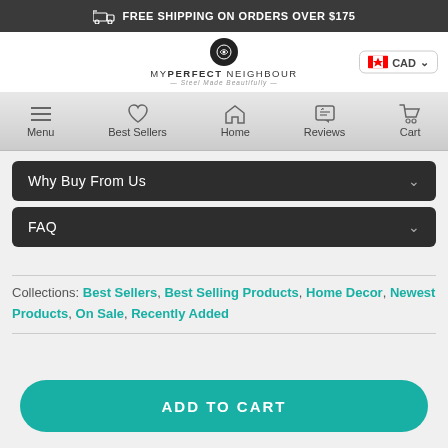FREE SHIPPING ON ORDERS OVER $175
[Figure (logo): My Perfect Neighbour logo with circular emblem and tagline Steel Made Beautifully]
CAD
Menu  Best Sellers  Home  Reviews  Cart
Why Buy From Us
FAQ
Collections: Best Sellers, Best Selling Products, Home Decor, Newest Products, On Sale, Recently Added
ADD TO CART